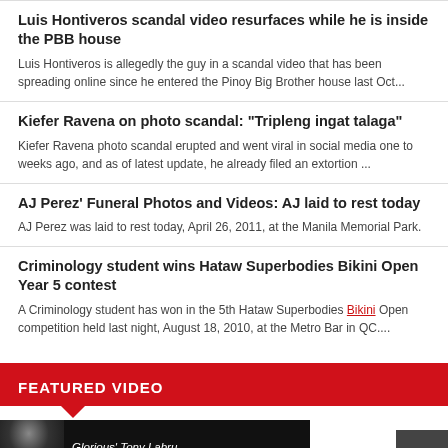Luis Hontiveros scandal video resurfaces while he is inside the PBB house
Luis Hontiveros is allegedly the guy in a scandal video that has been spreading online since he entered the Pinoy Big Brother house last Oct...
Kiefer Ravena on photo scandal: "Tripleng ingat talaga"
Kiefer Ravena photo scandal erupted and went viral in social media one to weeks ago, and as of latest update, he already filed an extortion ...
AJ Perez' Funeral Photos and Videos: AJ laid to rest today
AJ Perez was laid to rest today, April 26, 2011, at the Manila Memorial Park.
Criminology student wins Hataw Superbodies Bikini Open Year 5 contest
A Criminology student has won in the 5th Hataw Superbodies Bikini Open competition held last night, August 18, 2010, at the Metro Bar in QC....
FEATURED VIDEO
[Figure (screenshot): Video thumbnail showing a person with text 'Glorious Tony Labru']